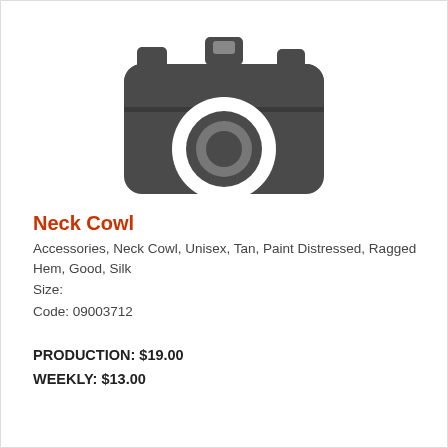[Figure (illustration): Camera placeholder icon — dark gray silhouette of a compact camera with lens circle]
Neck Cowl
Accessories, Neck Cowl, Unisex, Tan, Paint Distressed, Ragged Hem, Good, Silk
Size:
Code: 09003712
PRODUCTION:  $19.00
WEEKLY:  $13.00